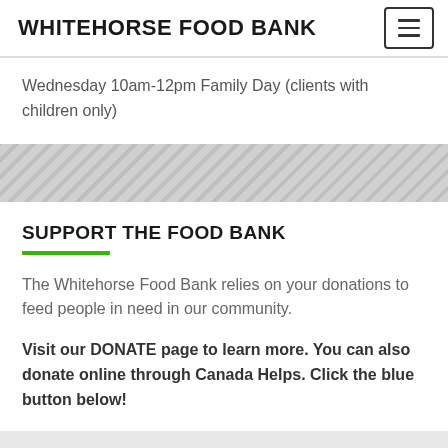WHITEHORSE FOOD BANK
Wednesday 10am-12pm Family Day (clients with children only)
SUPPORT THE FOOD BANK
The Whitehorse Food Bank relies on your donations to feed people in need in our community.
Visit our DONATE page to learn more. You can also donate online through Canada Helps. Click the blue button below!